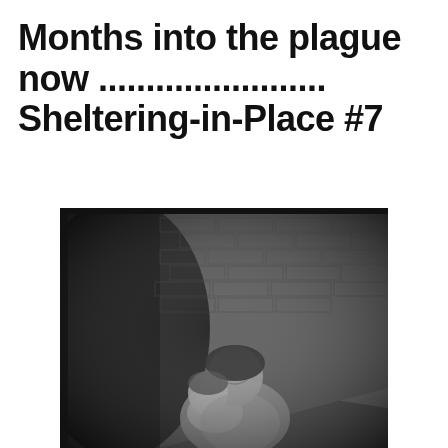Months into the plague now ........................ Sheltering-in-Place #7
[Figure (photo): Black and white photograph showing a smiling young girl holding a baby or toddler, both sitting in front of a stone brick wall in a dark, arched space. The photo has a vintage quality.]